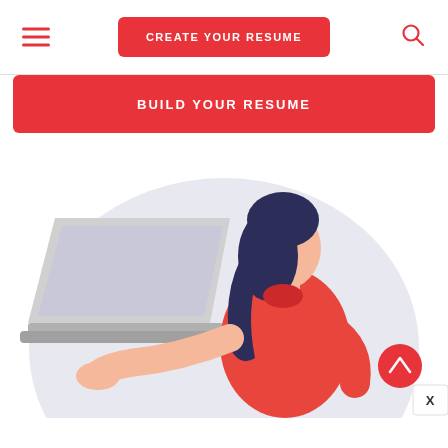CREATE YOUR RESUME
BUILD YOUR RESUME
[Figure (illustration): Illustration of a woman with dark hair wearing a red top, sitting and typing on a laptop. The background features a large light purple/lavender semicircle. The scene is a flat vector style illustration.]